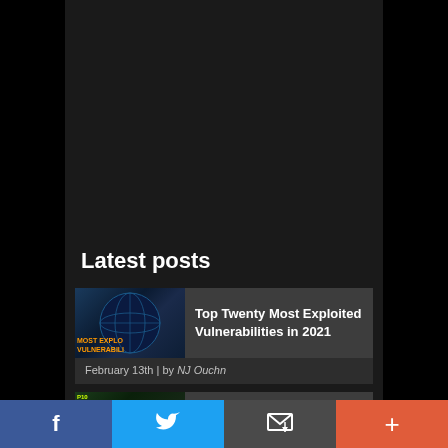Latest posts
Top Twenty Most Exploited Vulnerabilities in 2021
February 13th | by NJ Ouchn
Top 10 Most Used MITRE ATT&CK...
[Figure (screenshot): Social share bar with Facebook, Twitter, email, and plus buttons]